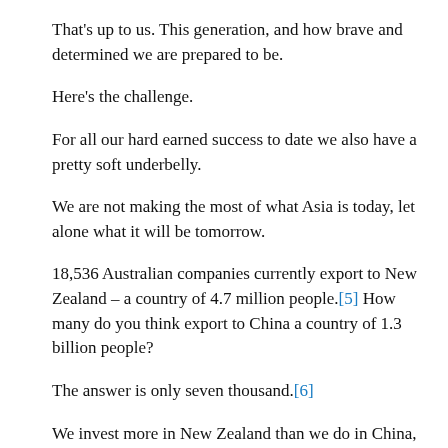That's up to us. This generation, and how brave and determined we are prepared to be.
Here's the challenge.
For all our hard earned success to date we also have a pretty soft underbelly.
We are not making the most of what Asia is today, let alone what it will be tomorrow.
18,536 Australian companies currently export to New Zealand – a country of 4.7 million people.[5] How many do you think export to China a country of 1.3 billion people?
The answer is only seven thousand.[6]
We invest more in New Zealand than we do in China, Japan, India and the 10 nations of ASEAN combined.[7]
More than 4 million Australians can claim Asian heritage.[8] That is an enormous potential asset, but you will find very few of them on the boards or in the senior ranks of our top 200 ASX…